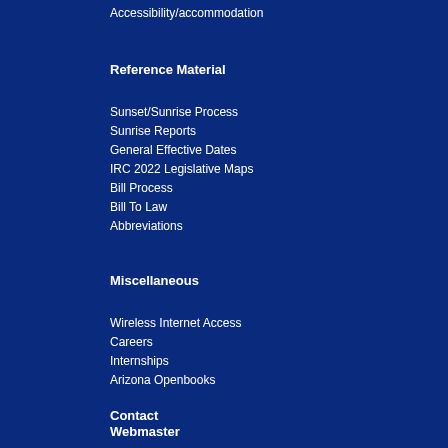Accessibility/accommodation
Reference Material
Sunset/Sunrise Process
Sunrise Reports
General Effective Dates
IRC 2022 Legislative Maps
Bill Process
Bill To Law
Abbreviations
Miscellaneous
Wireless Internet Access
Careers
Internships
Arizona Openbooks
Contact
Webmaster
Email
Phone